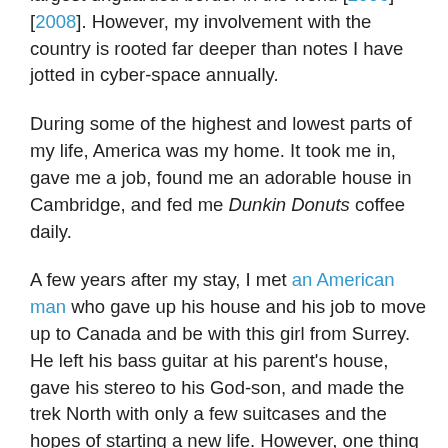largest unguarded border in the world [2006] [2008]. However, my involvement with the country is rooted far deeper than notes I have jotted in cyber-space annually.
During some of the highest and lowest parts of my life, America was my home. It took me in, gave me a job, found me an adorable house in Cambridge, and fed me Dunkin Donuts coffee daily.
A few years after my stay, I met an American man who gave up his house and his job to move up to Canada and be with this girl from Surrey. He left his bass guitar at his parent's house, gave his stereo to his God-son, and made the trek North with only a few suitcases and the hopes of starting a new life. However, one thing he never gave up was the love of where he came from.
He's still a die-hard Cubs fan, will cheer for the Chiefs, and can name almost any professional player that used to be a